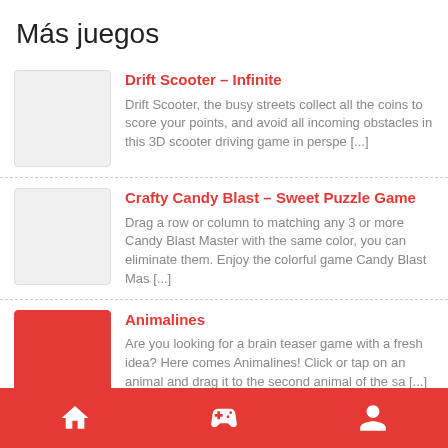Más juegos
Drift Scooter – Infinite
Drift Scooter, the busy streets collect all the coins to score your points, and avoid all incoming obstacles in this 3D scooter driving game in perspe [...]
Crafty Candy Blast – Sweet Puzzle Game
Drag a row or column to matching any 3 or more Candy Blast Master with the same color, you can eliminate them. Enjoy the colorful game Candy Blast Mas [...]
Animalines
Are you looking for a brain teaser game with a fresh idea? Here comes Animalines! Click or tap on an animal and drag it to the second animal of the sa [...]
Home | Games | Profile